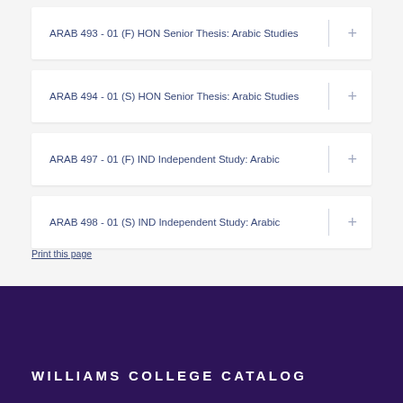ARAB 493 - 01 (F) HON Senior Thesis: Arabic Studies
ARAB 494 - 01 (S) HON Senior Thesis: Arabic Studies
ARAB 497 - 01 (F) IND Independent Study: Arabic
ARAB 498 - 01 (S) IND Independent Study: Arabic
Print this page
WILLIAMS COLLEGE CATALOG